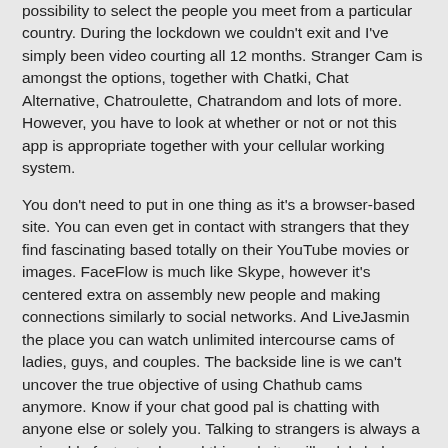possibility to select the people you meet from a particular country. During the lockdown we couldn't exit and I've simply been video courting all 12 months. Stranger Cam is amongst the options, together with Chatki, Chat Alternative, Chatroulette, Chatrandom and lots of more. However, you have to look at whether or not or not this app is appropriate together with your cellular working system.
You don't need to put in one thing as it's a browser-based site. You can even get in contact with strangers that they find fascinating based totally on their YouTube movies or images. FaceFlow is much like Skype, however it's centered extra on assembly new people and making connections similarly to social networks. And LiveJasmin the place you can watch unlimited intercourse cams of ladies, guys, and couples. The backside line is we can't uncover the true objective of using Chathub cams anymore. Know if your chat good pal is chatting with anyone else or solely you. Talking to strangers is always a enjoyable factor to do, and this website will solely help you to search out folks with whom you'll be able to chat.
Apps For Streaming Reside Video